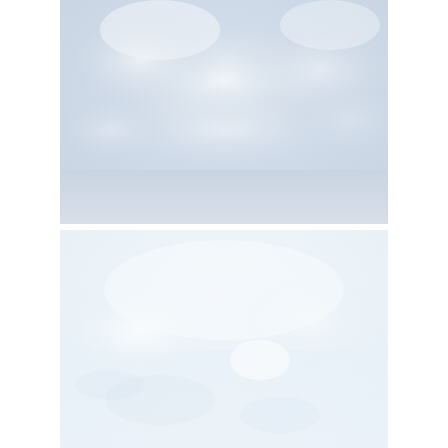[Figure (photo): Overcast sky with soft grey-blue clouds, slightly hazy, pale tones. Upper portion of a two-photo layout.]
[Figure (photo): Very light, nearly white sky or snow scene with faint textures and very pale blue-white tones. Barely visible shapes suggest reflections or snow. Lower portion of a two-photo layout.]